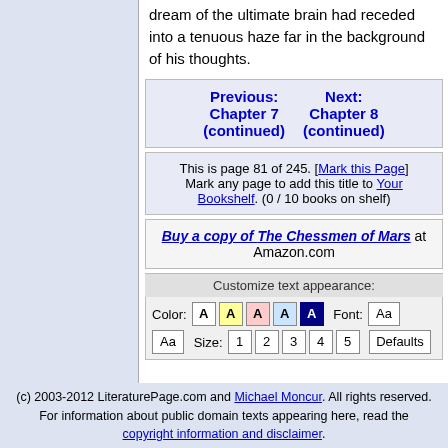dream of the ultimate brain had receded into a tenuous haze far in the background of his thoughts.
Previous: Chapter 7 (continued)   Next: Chapter 8 (continued)
This is page 81 of 245. [Mark this Page] Mark any page to add this title to Your Bookshelf. (0 / 10 books on shelf)
Buy a copy of The Chessmen of Mars at Amazon.com
Customize text appearance:
Color: A A A A A  Font: Aa  Aa  Size: 1 2 3 4 5  Defaults
(c) 2003-2012 LiteraturePage.com and Michael Moncur. All rights reserved. For information about public domain texts appearing here, read the copyright information and disclaimer.